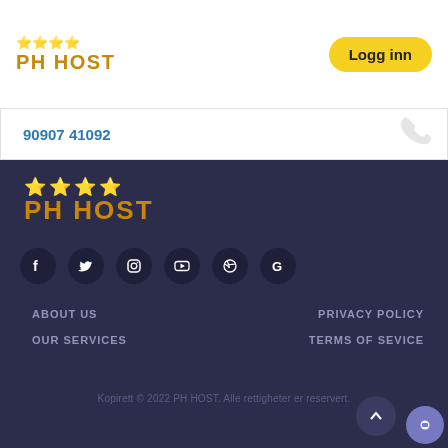PH HOST
90907 41092
[Figure (logo): PH HOST logo with stars, large version in footer]
[Figure (infographic): Social media icons: Facebook, Twitter, Instagram, YouTube, Dribbble, Google]
ABOUT US
OUR SERVICES
PRIVACY POLICY
TERMS OF SEVICE
Kopirett © 2022 PH HOST. Alle rettigheter er reservert.